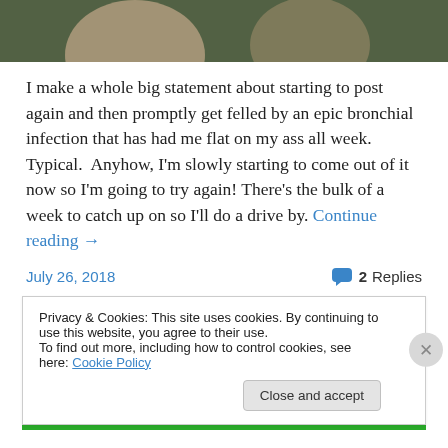[Figure (photo): Top portion of a sports photo showing athletes, cropped at the top of the page]
I make a whole big statement about starting to post again and then promptly get felled by an epic bronchial infection that has had me flat on my ass all week. Typical.  Anyhow, I'm slowly starting to come out of it now so I'm going to try again! There's the bulk of a week to catch up on so I'll do a drive by. Continue reading →
July 26, 2018
2 Replies
Privacy & Cookies: This site uses cookies. By continuing to use this website, you agree to their use.
To find out more, including how to control cookies, see here: Cookie Policy
Close and accept